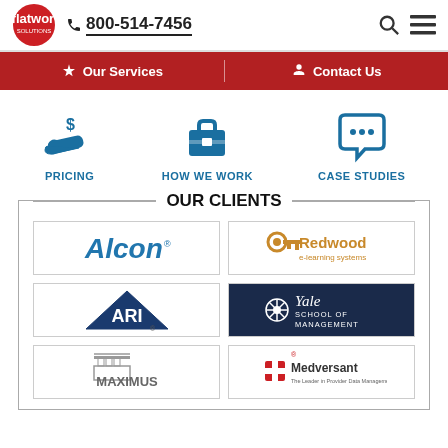[Figure (logo): Flatworld Solutions logo with infinity symbol and red circle]
800-514-7456
[Figure (infographic): Navigation bar with Our Services and Contact Us links on red background]
[Figure (infographic): Three icon links: PRICING (dollar hand icon), HOW WE WORK (briefcase icon), CASE STUDIES (speech bubble icon)]
OUR CLIENTS
[Figure (logo): Alcon logo]
[Figure (logo): Redwood e-learning systems logo]
[Figure (logo): ARI logo]
[Figure (logo): Yale School of Management logo]
[Figure (logo): MAXIMUS logo]
[Figure (logo): Medversant logo]